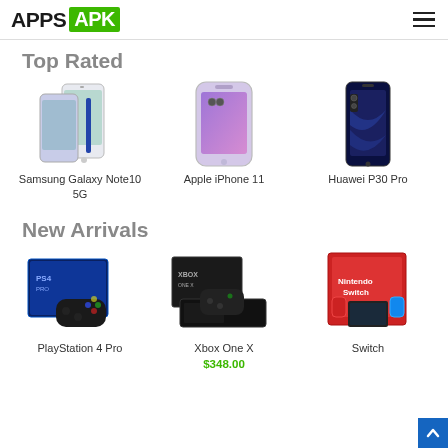APPS APK
Top Rated
[Figure (photo): Samsung Galaxy Note10 5G smartphone product image]
Samsung Galaxy Note10 5G
[Figure (photo): Apple iPhone 11 smartphone product image]
Apple iPhone 11
[Figure (photo): Huawei P30 Pro smartphone product image]
Huawei P30 Pro
New Arrivals
[Figure (photo): PlayStation 4 Pro console product image]
PlayStation 4 Pro
[Figure (photo): Xbox One X console product image]
Xbox One X
$348.00
[Figure (photo): Nintendo Switch console product image]
Switch